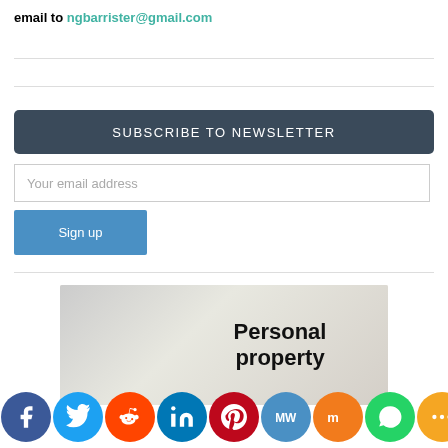email to ngbarrister@gmail.com
[Figure (infographic): Newsletter subscription widget with dark blue header 'SUBSCRIBE TO NEWSLETTER', email input field with placeholder 'Your email address', and a blue 'Sign up' button]
[Figure (illustration): Article thumbnail image showing text 'Personal property' on a textured background]
[Figure (infographic): Social media icon bar with Facebook, Twitter, Reddit, LinkedIn, Pinterest, MeWe, Mix, WhatsApp, and More icons]